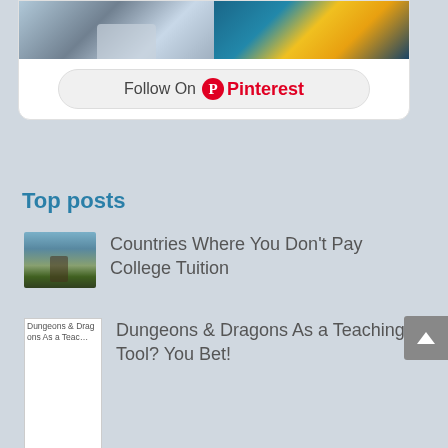[Figure (screenshot): Pinterest widget with two photo thumbnails at the top (a building with trees and an industrial structure with yellow scaffolding), and a 'Follow On Pinterest' button below]
Top posts
[Figure (photo): Thumbnail photo of a person standing on a green lawn with a building in the background]
Countries Where You Don't Pay College Tuition
[Figure (photo): Broken image placeholder for Dungeons & Dragons As a Teaching Tool? You Bet!]
Dungeons & Dragons As a Teaching Tool? You Bet!